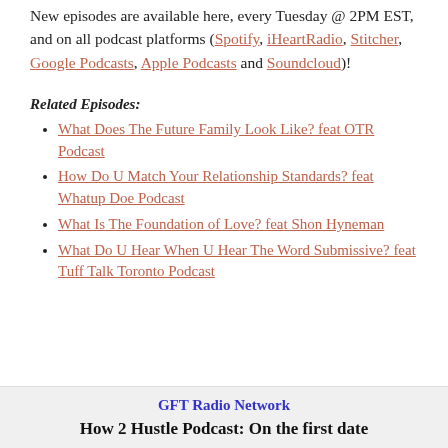New episodes are available here, every Tuesday @ 2PM EST, and on all podcast platforms (Spotify, iHeartRadio, Stitcher, Google Podcasts, Apple Podcasts and Soundcloud)!
Related Episodes:
What Does The Future Family Look Like? feat OTR Podcast
How Do U Match Your Relationship Standards? feat Whatup Doe Podcast
What Is The Foundation of Love? feat Shon Hyneman
What Do U Hear When U Hear The Word Submissive? feat Tuff Talk Toronto Podcast
GFT Radio Network
How 2 Hustle Podcast: On the first date